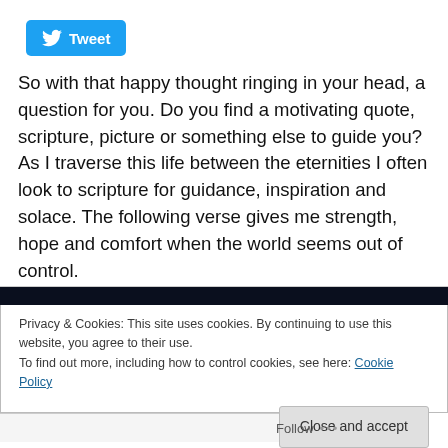[Figure (other): Twitter Tweet button with bird logo]
So with that happy thought ringing in your head, a question for you. Do you find a motivating quote, scripture, picture or something else to guide you? As I traverse this life between the eternities I often look to scripture for guidance, inspiration and solace. The following verse gives me strength, hope and comfort when the world seems out of control.
Privacy & Cookies: This site uses cookies. By continuing to use this website, you agree to their use.
To find out more, including how to control cookies, see here: Cookie Policy
Close and accept
Follow